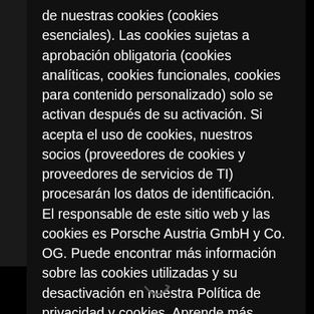de nuestras cookies (cookies esenciales). Las cookies sujetas a aprobación obligatoria (cookies analíticas, cookies funcionales, cookies para contenido personalizado) solo se activan después de su activación. Si acepta el uso de cookies, nuestros socios (proveedores de cookies y proveedores de servicios de TI) procesarán los datos de identificación. El responsable de este sitio web y las cookies es Porsche Austria GmbH y Co. OG. Puede encontrar más información sobre las cookies utilizadas y su desactivación en nuestra Política de privacidad y cookies  Aprende más
¡Entendido!